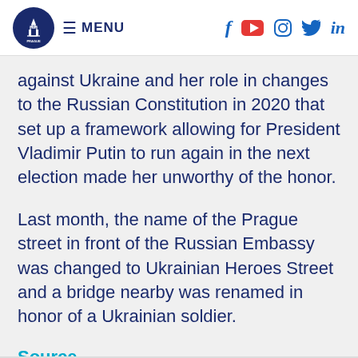Prague Forum | MENU | social icons: Facebook, YouTube, Instagram, Twitter, LinkedIn
against Ukraine and her role in changes to the Russian Constitution in 2020 that set up a framework allowing for President Vladimir Putin to run again in the next election made her unworthy of the honor.
Last month, the name of the Prague street in front of the Russian Embassy was changed to Ukrainian Heroes Street and a bridge nearby was renamed in honor of a Ukrainian soldier.
Source